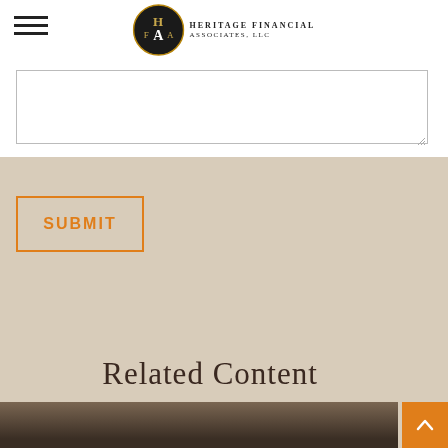Heritage Financial Associates, LLC
[Figure (screenshot): Text area input field (white, partially visible at top)]
SUBMIT
Related Content
[Figure (photo): Partial photo visible at bottom of page, dark tones]